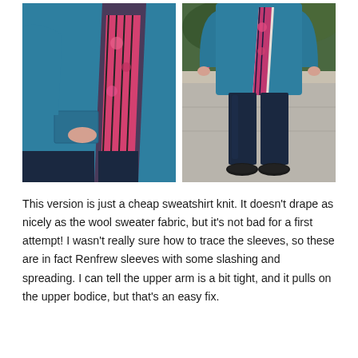[Figure (photo): Two side-by-side photos of a woman wearing a teal/blue open cardigan over a floral and striped top with dark jeans. Left photo shows a close-up of the cardigan front and pocket area. Right photo shows a full-length view outdoors with black flats.]
This version is just a cheap sweatshirt knit. It doesn't drape as nicely as the wool sweater fabric, but it's not bad for a first attempt! I wasn't really sure how to trace the sleeves, so these are in fact Renfrew sleeves with some slashing and spreading. I can tell the upper arm is a bit tight, and it pulls on the upper bodice, but that's an easy fix.